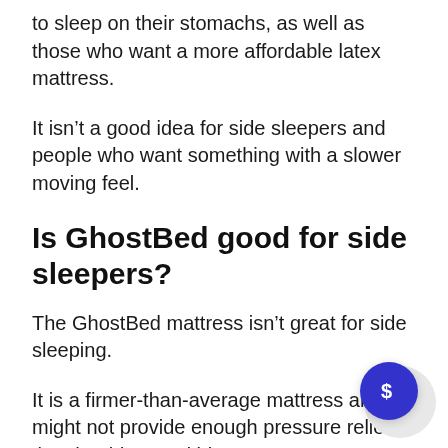to sleep on their stomachs, as well as those who want a more affordable latex mattress.
It isn't a good idea for side sleepers and people who want something with a slower moving feel.
Is GhostBed good for side sleepers?
The GhostBed mattress isn't great for side sleeping.
It is a firmer-than-average mattress and might not provide enough pressure relief at the shoulders and hips.